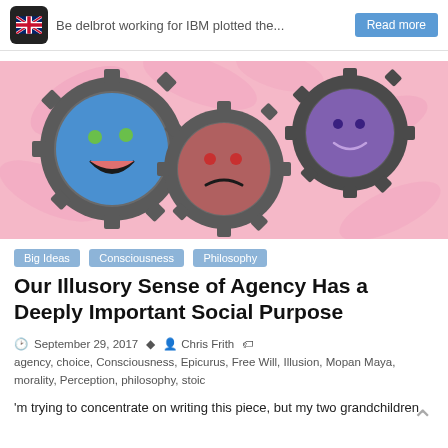Be[...] delbrot working for IBM plotted the...  Read more
[Figure (illustration): Three interlocking gear cogs on a pink floral background. Left gear has a blue happy face with green eyes, center gear has a red sad face, right gear has a purple neutral/smiling face.]
Big Ideas
Consciousness
Philosophy
Our Illusory Sense of Agency Has a Deeply Important Social Purpose
September 29, 2017   Chris Frith   agency, choice, Consciousness, Epicurus, Free Will, Illusion, Mopan Maya, morality, Perception, philosophy, stoic
'm trying to concentrate on writing this piece, but my two grandchildren